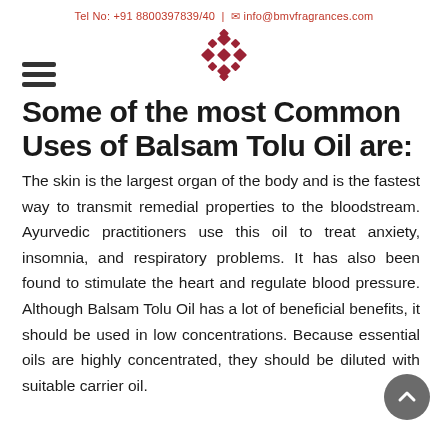Tel No: +91 8800397839/40  |  info@bmvfragrances.com
[Figure (logo): BMV Fragrances decorative diamond/knot logo in dark red]
Some of the most Common Uses of Balsam Tolu Oil are:
The skin is the largest organ of the body and is the fastest way to transmit remedial properties to the bloodstream. Ayurvedic practitioners use this oil to treat anxiety, insomnia, and respiratory problems. It has also been found to stimulate the heart and regulate blood pressure. Although Balsam Tolu Oil has a lot of beneficial benefits, it should be used in low concentrations. Because essential oils are highly concentrated, they should be diluted with suitable carrier oil.